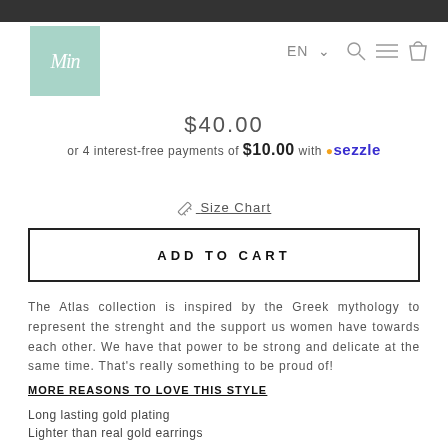[Figure (logo): Min brand logo — mint green square with cursive white M script]
EN ∨ 🔍 ☰ 🛍
$40.00
or 4 interest-free payments of $10.00 with ⬤sezzle
✏ Size Chart
ADD TO CART
The Atlas collection is inspired by the Greek mythology to represent the strenght and the support us women have towards each other. We have that power to be strong and delicate at the same time. That's really something to be proud of!
MORE REASONS TO LOVE THIS STYLE
Long lasting gold plating
Lighter than real gold earrings